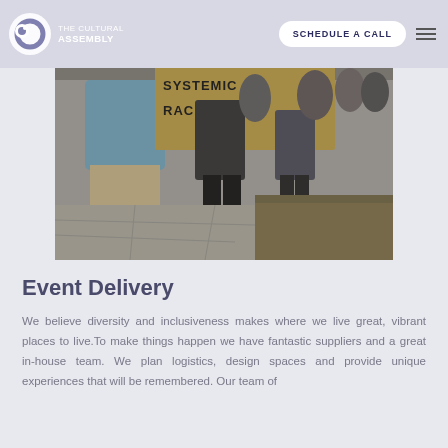[Figure (photo): A protest or cultural march scene showing people walking and carrying a large sign with text including 'SYSTEMIC' and 'RACION'. People are visible from the torso/legs down, on a paved path with grass area to the right.]
THE CULTURAL ASSEMBLY | SCHEDULE A CALL
Event Delivery
We believe diversity and inclusiveness makes where we live great, vibrant places to live.To make things happen we have fantastic suppliers and a great in-house team. We plan logistics, design spaces and provide unique experiences that will be remembered. Our team of